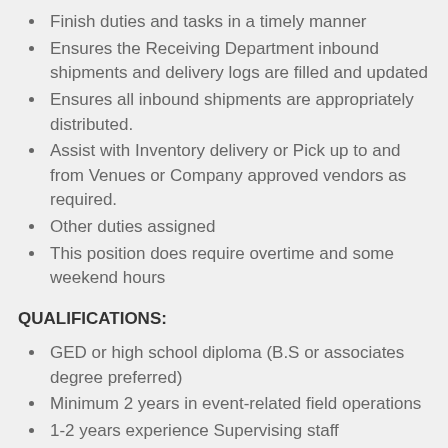Finish duties and tasks in a timely manner
Ensures the Receiving Department inbound shipments and delivery logs are filled and updated
Ensures all inbound shipments are appropriately distributed.
Assist with Inventory delivery or Pick up to and from Venues or Company approved vendors as required.
Other duties assigned
This position does require overtime and some weekend hours
QUALIFICATIONS:
GED or high school diploma (B.S or associates degree preferred)
Minimum 2 years in event-related field operations
1-2 years experience Supervising staff
Ability to train and coach staff on a regular basis
Understands basic accounting & standard business